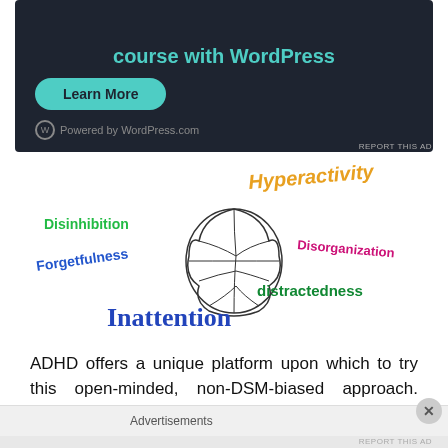[Figure (screenshot): Dark-themed WordPress.com advertisement banner showing 'course with WordPress' text in teal, a 'Learn More' button, and 'Powered by WordPress.com' footer]
[Figure (infographic): ADHD word cloud illustration featuring colorful text labels: Hyperactivity (orange-yellow), Disinhibition (green), Forgetfulness (blue), Disorganization (magenta/pink), Distractedness (dark green), Inattention (blue), surrounding a line-drawing of a human brain]
ADHD offers a unique platform upon which to try this open-minded, non-DSM-biased approach.  Dropping th
Advertisements